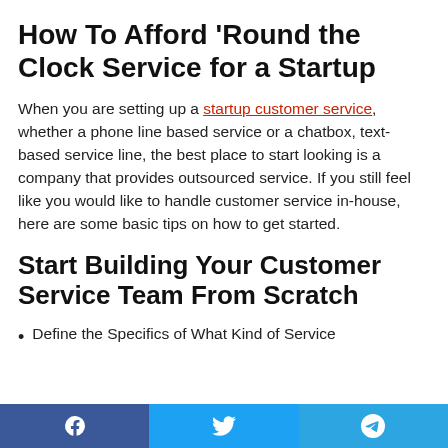How To Afford ‘Round the Clock Service for a Startup
When you are setting up a startup customer service, whether a phone line based service or a chatbox, text-based service line, the best place to start looking is a company that provides outsourced service. If you still feel like you would like to handle customer service in-house, here are some basic tips on how to get started.
Start Building Your Customer Service Team From Scratch
Define the Specifics of What Kind of Service